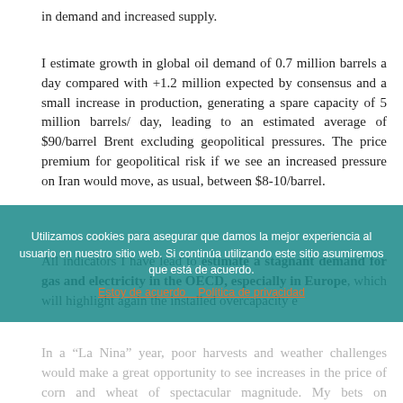in demand and increased supply.
I estimate growth in global oil demand of 0.7 million barrels a day compared with +1.2 million expected by consensus and a small increase in production, generating a spare capacity of 5 million barrels/ day, leading to an estimated average of $90/barrel Brent excluding geopolitical pressures. The price premium for geopolitical risk if we see an increased pressure on Iran would move, as usual, between $8-10/barrel.
All indicators I have lead to estimate a stagnant demand for gas and electricity in the OECD, especially in Europe, which will highlight again the installed overcapacity e...
In a "La Nina" year, poor harvests and weather challenges would make a great opportunity to see increases in the price of corn and wheat of spectacular magnitude. My bets on commodities are kept in corn, wheat, oil and declining...